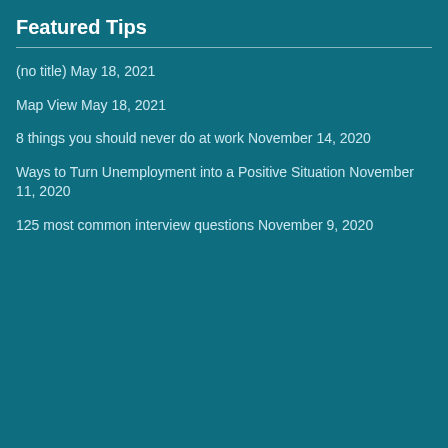Featured Tips
(no title) May 18, 2021
Map View May 18, 2021
8 things you should never do at work November 14, 2020
Ways to Turn Unemployment into a Positive Situation November 11, 2020
125 most common interview questions November 9, 2020